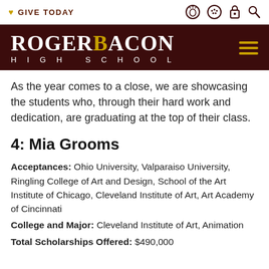❤ GIVE TODAY
[Figure (logo): Roger Bacon High School logo — white serif text on dark maroon background with gold RB letters]
As the year comes to a close, we are showcasing the students who, through their hard work and dedication, are graduating at the top of their class.
4: Mia Grooms
Acceptances: Ohio University, Valparaiso University, Ringling College of Art and Design, School of the Art Institute of Chicago, Cleveland Institute of Art, Art Academy of Cincinnati
College and Major: Cleveland Institute of Art, Animation
Total Scholarships Offered: $490,000